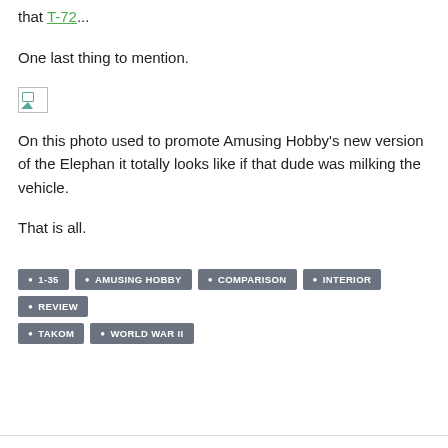that T-72...
One last thing to mention.
[Figure (photo): Broken/missing image placeholder icon]
On this photo used to promote Amusing Hobby's new version of the Elephan it totally looks like if that dude was milking the vehicle.
That is all.
Tags: 1-35, AMUSING HOBBY, COMPARISON, INTERIOR, REVIEW, TAKOM, WORLD WAR II